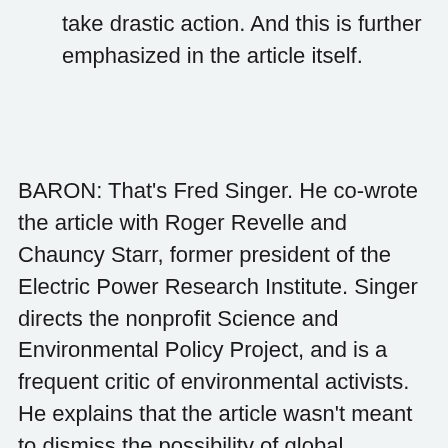take drastic action. And this is further emphasized in the article itself.
BARON: That's Fred Singer. He co-wrote the article with Roger Revelle and Chauncy Starr, former president of the Electric Power Research Institute. Singer directs the nonprofit Science and Environmental Policy Project, and is a frequent critic of environmental activists. He explains that the article wasn't meant to dismiss the possibility of global warming, but it was intended to